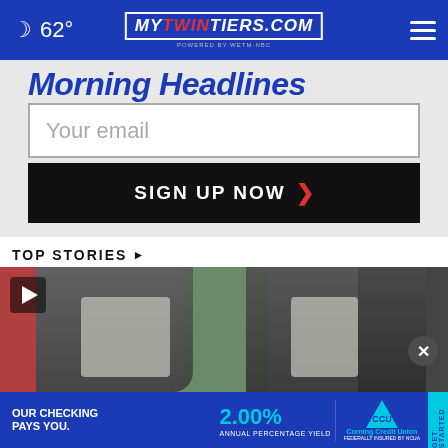🌙 62° | mytwintiers.com
Morning Headlines
Your email
SIGN UP NOW ›
TOP STORIES ›
[Figure (photo): Video thumbnail of people in suits at an outdoor press conference, with a play button overlay and close button]
[Figure (infographic): Advertisement banner: OUR CHECKING PAYS YOU. 2.00% ANNUAL PERCENTAGE YIELD — Corning Credit Union, FEDERALLY INSURED BY NCUA — GET STARTED]